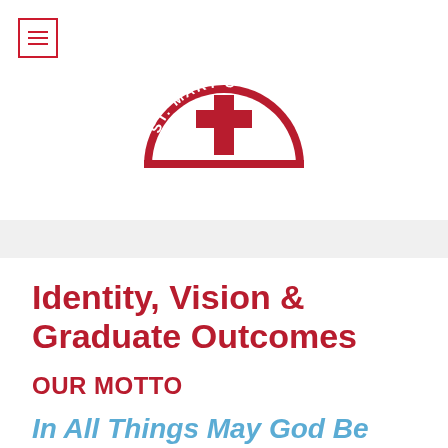[Figure (logo): St. Mary's school logo — semicircular red arch with a cross in the center and text 'ST. MARY'S' along the arc]
Identity, Vision & Graduate Outcomes
OUR MOTTO
In All Things May God Be Glorified